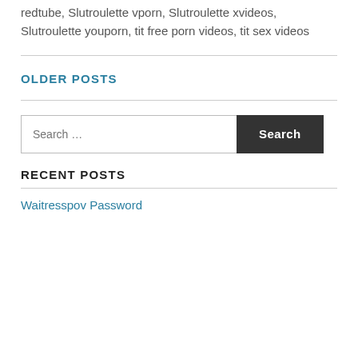redtube, Slutroulette vporn, Slutroulette xvideos, Slutroulette youporn, tit free porn videos, tit sex videos
OLDER POSTS
RECENT POSTS
Waitresspov Password